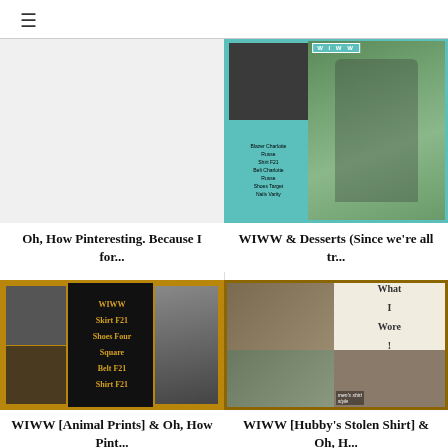≡
[Figure (photo): Empty/blank left top cell, no image shown]
[Figure (photo): WIWW collage with teal/turquoise border, outfit details: Blazer Charlotte Russe, Shirt F21, Belt Charlotte Russe, Shoes Target, Nails Varity, woman posed outdoors]
Oh, How Pinteresting. Because I for...
WIWW & Desserts (Since we're all tr...
[Figure (photo): WIWW collage with animal print / leopard border, text: WIWW Skirt F21 Shoes Four Square Belt F21 Shirt F21, woman in dark skirt outdoors]
[Figure (photo): WIWW collage with 'What I Wore' sign, woman in orange scarf/infinity scarf with cardigan and jeans, men's shirt style text at bottom]
WIWW [Animal Prints] & Oh, How Pint...
WIWW [Hubby's Stolen Shirt] & Oh, H...